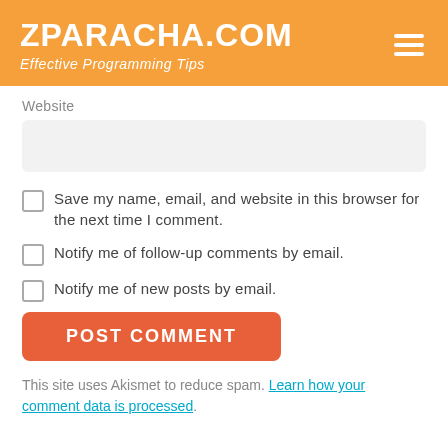ZPARACHA.COM — Effective Programming Tips
Website
Save my name, email, and website in this browser for the next time I comment.
Notify me of follow-up comments by email.
Notify me of new posts by email.
POST COMMENT
This site uses Akismet to reduce spam. Learn how your comment data is processed.